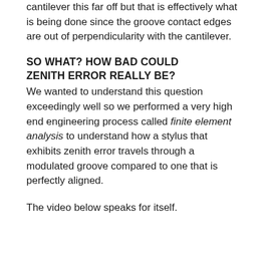cantilever this far off but that is effectively what is being done since the groove contact edges are out of perpendicularity with the cantilever.
SO WHAT? HOW BAD COULD ZENITH ERROR REALLY BE?
We wanted to understand this question exceedingly well so we performed a very high end engineering process called finite element analysis to understand how a stylus that exhibits zenith error travels through a modulated groove compared to one that is perfectly aligned.
The video below speaks for itself.